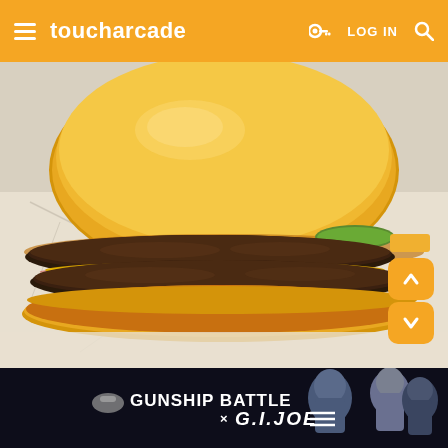toucharcade   LOG IN
[Figure (photo): Close-up photo of a double cheeseburger with two beef patties, mustard, pickles, and cheese on a sesame-free bun, placed on white deli paper.]
[Figure (other): Advertisement banner for GUNSHIP BATTLE x G.I. JOE featuring action figures/characters on dark background.]